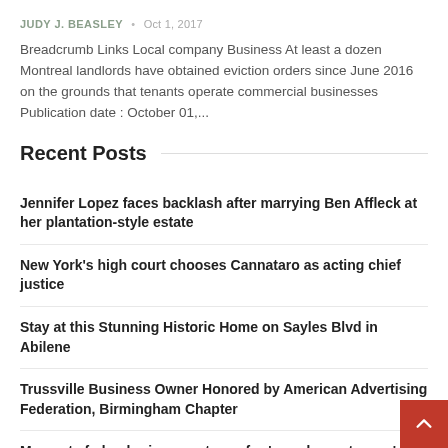JUDY J. BEASLEY  •  Oct 1, 2017
Breadcrumb Links Local company Business At least a dozen Montreal landlords have obtained eviction orders since June 2016 on the grounds that tenants operate commercial businesses Publication date : October 01,...
Recent Posts
Jennifer Lopez faces backlash after marrying Ben Affleck at her plantation-style estate
New York's high court chooses Cannataro as acting chief justice
Stay at this Stunning Historic Home on Sayles Blvd in Abilene
Trussville Business Owner Honored by American Advertising Federation, Birmingham Chapter
Man gets federal prison sentence for 'grandparent scam'; 4 m